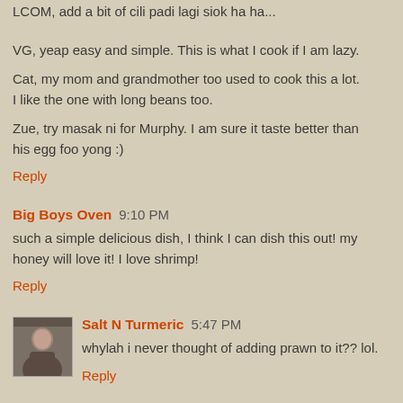LCOM, add a bit of cili padi lagi siok ha ha...
VG, yeap easy and simple. This is what I cook if I am lazy.
Cat, my mom and grandmother too used to cook this a lot. I like the one with long beans too.
Zue, try masak ni for Murphy. I am sure it taste better than his egg foo yong :)
Reply
Big Boys Oven  9:10 PM
such a simple delicious dish, I think I can dish this out! my honey will love it! I love shrimp!
Reply
Salt N Turmeric  5:47 PM
whylah i never thought of adding prawn to it?? lol.
Reply